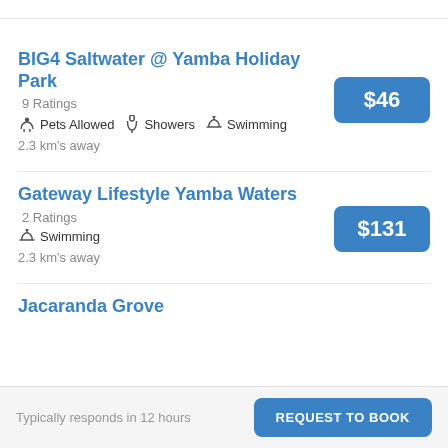BIG4 Saltwater @ Yamba Holiday Park
9 Ratings
Pets Allowed  Showers  Swimming
2.3 km's away
$46
Gateway Lifestyle Yamba Waters
2 Ratings
Swimming
2.3 km's away
$131
Jacaranda Grove
Typically responds in 12 hours  REQUEST TO BOOK